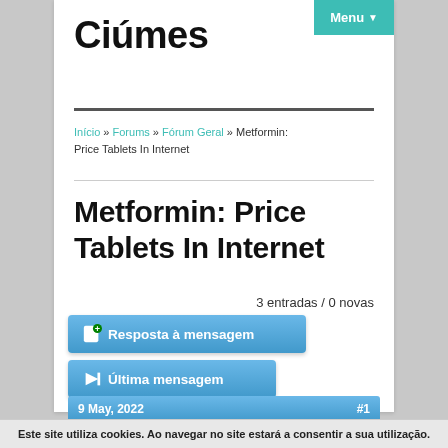Ciúmes
Menu ▼
Início » Forums » Fórum Geral » Metformin: Price Tablets In Internet
Metformin: Price Tablets In Internet
3 entradas / 0 novas
Resposta à mensagem
Última mensagem
9 May, 2022  #1
Este site utiliza cookies. Ao navegar no site estará a consentir a sua utilização.